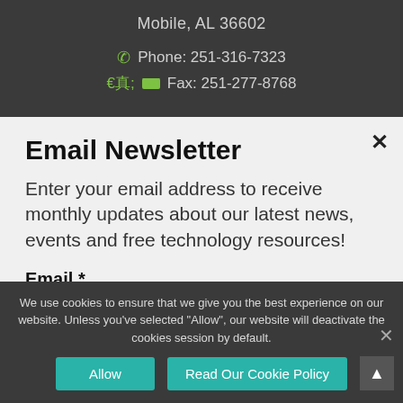Mobile, AL 36602
Phone: 251-316-7323
Fax: 251-277-8768
Email Newsletter
Enter your email address to receive monthly updates about our latest news, events and free technology resources!
Email *
We use cookies to ensure that we give you the best experience on our website. Unless you've selected "Allow", our website will deactivate the cookies session by default.